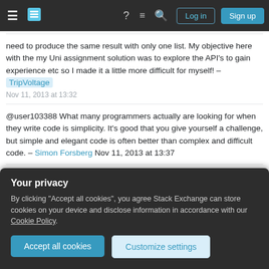Stack Exchange navigation bar with Log in and Sign up buttons
need to produce the same result with only one list. My objective here with the my Uni assignment solution was to explore the API's to gain experience etc so I made it a little more difficult for myself! – TripVoltage Nov 11, 2013 at 13:32
@user103388 What many programmers actually are looking for when they write code is simplicity. It's good that you give yourself a challenge, but simple and elegant code is often better than complex and difficult code. – Simon Forsberg Nov 11, 2013 at 13:37
You got me thinking now if I should whip it out and re-write it! I have to present my solution giving my reason
Your privacy
By clicking "Accept all cookies", you agree Stack Exchange can store cookies on your device and disclose information in accordance with our Cookie Policy.
Accept all cookies
Customize settings
Add a comment